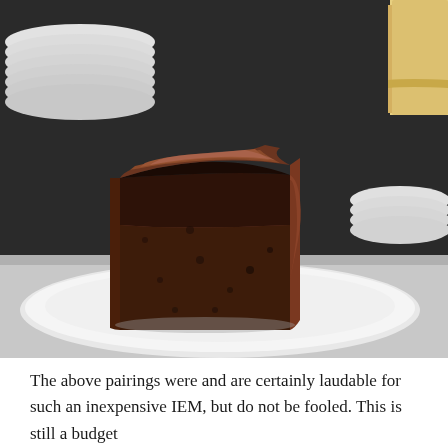[Figure (photo): A slice of double-layer chocolate cake with chocolate frosting on a white plate, with stacked white plates and another cake visible in the background.]
The above pairings were and are certainly laudable for such an inexpensive IEM, but do not be fooled. This is still a budget